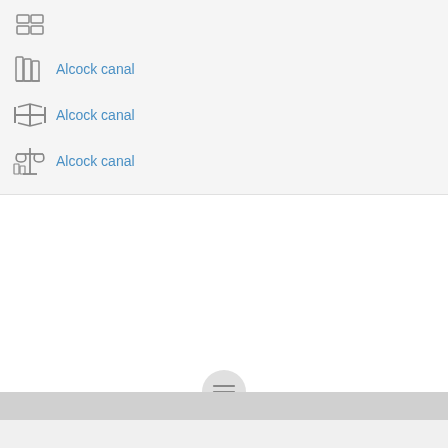Alcock canal
Alcock canal
Alcock canal
[Figure (screenshot): Navigation bar with hamburger menu button at bottom of screen]